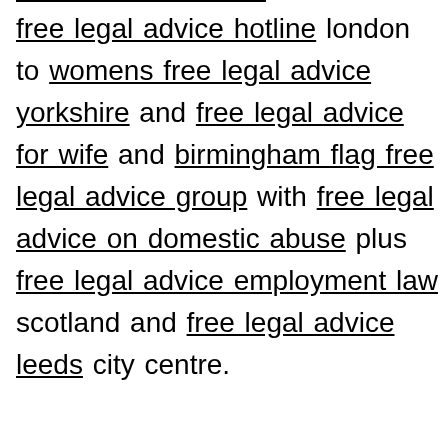free legal advice hotline london to womens free legal advice yorkshire and free legal advice for wife and birmingham flag free legal advice group with free legal advice on domestic abuse plus free legal advice employment law scotland and free legal advice leeds city centre.